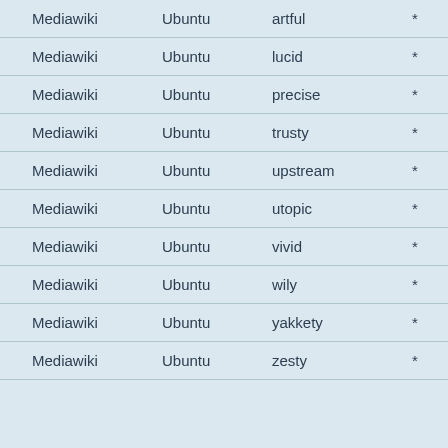| Mediawiki | Ubuntu | artful | * |
| Mediawiki | Ubuntu | lucid | * |
| Mediawiki | Ubuntu | precise | * |
| Mediawiki | Ubuntu | trusty | * |
| Mediawiki | Ubuntu | upstream | * |
| Mediawiki | Ubuntu | utopic | * |
| Mediawiki | Ubuntu | vivid | * |
| Mediawiki | Ubuntu | wily | * |
| Mediawiki | Ubuntu | yakkety | * |
| Mediawiki | Ubuntu | zesty | * |